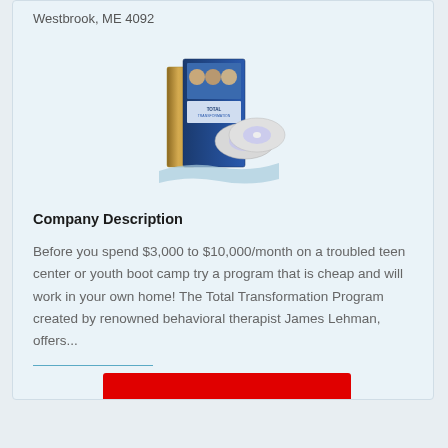Westbrook, ME 4092
[Figure (photo): Product image showing Total Transformation Program box set with CDs/DVDs]
Company Description
Before you spend $3,000 to $10,000/month on a troubled teen center or youth boot camp try a program that is cheap and will work in your own home! The Total Transformation Program created by renowned behavioral therapist James Lehman, offers...
[Figure (other): Red call-to-action button]